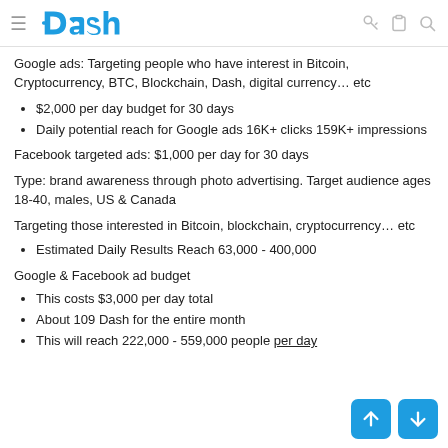Dash
Google ads: Targeting people who have interest in Bitcoin, Cryptocurrency, BTC, Blockchain, Dash, digital currency… etc
$2,000 per day budget for 30 days
Daily potential reach for Google ads 16K+ clicks 159K+ impressions
Facebook targeted ads: $1,000 per day for 30 days
Type: brand awareness through photo advertising. Target audience ages 18-40, males, US & Canada
Targeting those interested in Bitcoin, blockchain, cryptocurrency… etc
Estimated Daily Results Reach 63,000 - 400,000
Google & Facebook ad budget
This costs $3,000 per day total
About 109 Dash for the entire month
This will reach 222,000 - 559,000 people per day